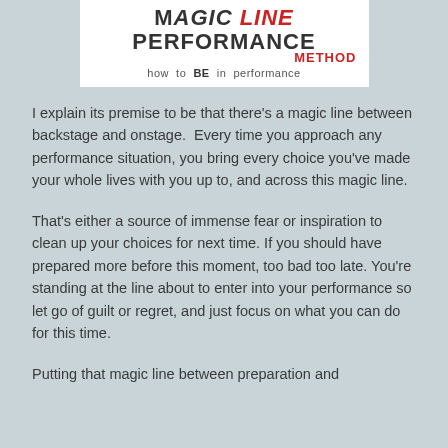[Figure (logo): Magic Line Performance Method logo — white box with title text 'MAGIC LINE PERFORMANCE' in dark uppercase, 'METHOD' in red, subtitle 'how to BE in performance']
I explain its premise to be that there's a magic line between backstage and onstage.  Every time you approach any performance situation, you bring every choice you've made your whole lives with you up to, and across this magic line.
That's either a source of immense fear or inspiration to clean up your choices for next time. If you should have prepared more before this moment, too bad too late. You're standing at the line about to enter into your performance so let go of guilt or regret, and just focus on what you can do for this time.
Putting that magic line between preparation and